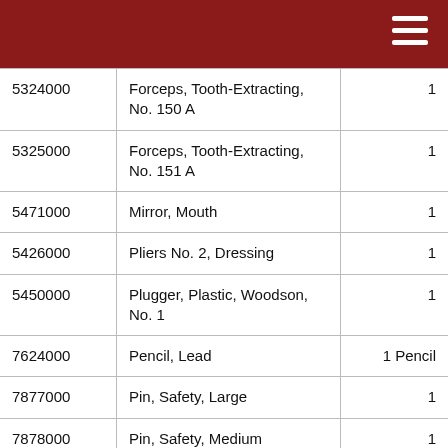| NSN | Item | Qty |
| --- | --- | --- |
| 5324000 | Forceps, Tooth-Extracting, No. 150 A | 1 |
| 5325000 | Forceps, Tooth-Extracting, No. 151 A | 1 |
| 5471000 | Mirror, Mouth | 1 |
| 5426000 | Pliers No. 2, Dressing | 1 |
| 5450000 | Plugger, Plastic, Woodson, No. 1 | 1 |
| 7624000 | Pencil, Lead | 1 Pencil |
| 7877000 | Pin, Safety, Large | 1 |
| 7878000 | Pin, Safety, Medium | 1 |
| 9112000 | Iodine Swab, 1 1/2-cc, 6 | 2 |
| 9509300 | Syringe, Hypodermic, Cartridge Type, Complete | 1 |